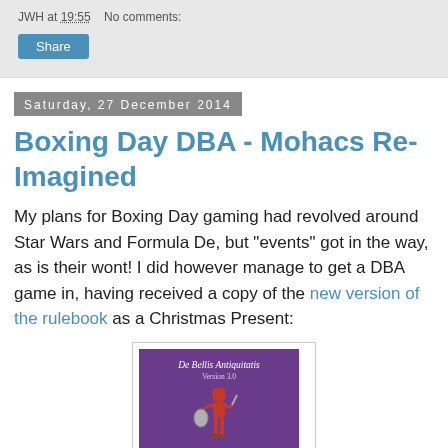JWH at 19:55    No comments:
Share
Saturday, 27 December 2014
Boxing Day DBA - Mohacs Re-Imagined
My plans for Boxing Day gaming had revolved around Star Wars and Formula De, but "events" got in the way, as is their wont!  I did however manage to get a DBA game in, having received a copy of the new version of the rulebook as a Christmas Present:
[Figure (photo): Cover of the De Bellis Antiquitatis Version 3.0 rulebook, purple cover with a Roman soldier illustration]